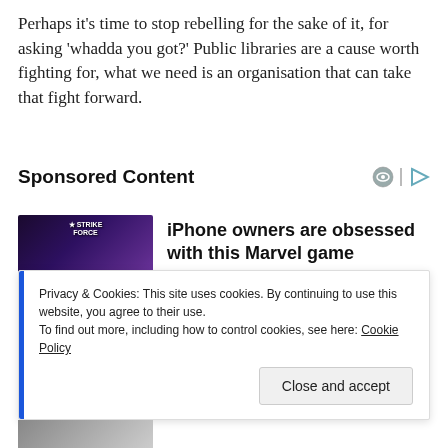Perhaps it's time to stop rebelling for the sake of it, for asking 'whadda you got?' Public libraries are a cause worth fighting for, what we need is an organisation that can take that fight forward.
Sponsored Content
[Figure (illustration): Advertisement for MARVEL Strike Force mobile game showing characters KYRIE and MIGHTY THOR with star ratings]
iPhone owners are obsessed with this Marvel game
MARVEL Strike Force
Privacy & Cookies: This site uses cookies. By continuing to use this website, you agree to their use.
To find out more, including how to control cookies, see here: Cookie Policy
Close and accept